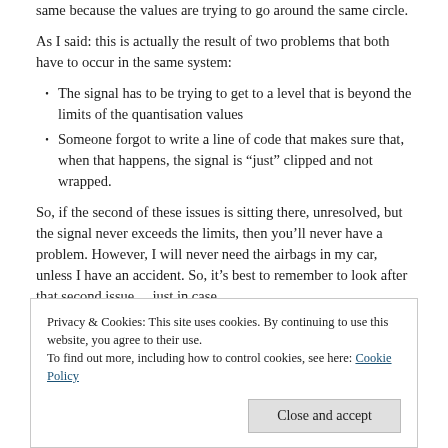same because the values are trying to go around the same circle.
As I said: this is actually the result of two problems that both have to occur in the same system:
The signal has to be trying to get to a level that is beyond the limits of the quantisation values
Someone forgot to write a line of code that makes sure that, when that happens, the signal is “just” clipped and not wrapped.
So, if the second of these issues is sitting there, unresolved, but the signal never exceeds the limits, then you’ll never have a problem. However, I will never need the airbags in my car, unless I have an accident. So, it’s best to remember to look after that second issue… just in case.
Privacy & Cookies: This site uses cookies. By continuing to use this website, you agree to their use. To find out more, including how to control cookies, see here: Cookie Policy
Close and accept